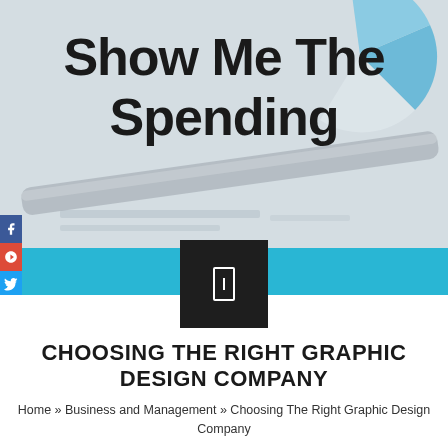[Figure (photo): Background photo of a pen lying on financial documents with pie chart visible, overlaid with bold text 'Show Me The Spending'. Social media buttons (Facebook, Google+, Twitter) on left edge. Cyan/teal horizontal band across middle.]
CHOOSING THE RIGHT GRAPHIC DESIGN COMPANY
Home » Business and Management » Choosing The Right Graphic Design Company